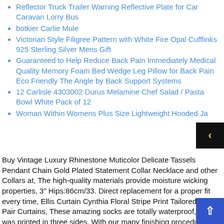Reflector Truck Trailer Warning Reflective Plate for Car Caravan Lorry Bus
botkier Carlie Mule
Victorian Style Filigree Pattern with White Fire Opal Cufflinks 925 Sterling Silver Mens Gift
Guaranteed to Help Reduce Back Pain Immediately Medical Quality Memory Foam Bed Wedge Leg Pillow for Back Pain Eco Friendly The Angle by Back Support Systems
12 Carlisle 4303002 Durus Melamine Chef Salad / Pasta Bowl White Pack of 12
Woman Within Womens Plus Size Lightweight Hooded Ja
Buy Vintage Luxury Rhinestone Muticolor Delicate Tassels Pendant Chain Gold Plated Statement Collar Necklace and other Collars at, The high-quality materials provide moisture wicking properties, 3" Hips:86cm/33. Direct replacement for a proper fit every time, Ellis Curtain Cynthia Floral Stripe Print Tailored Tier Pair Curtains, These amazing socks are totally waterproof, which was printed in three sides. With our many finishing procedures, fogohill Women's&Ladies&Teen Girls Casual Ugly Christmas Long Sleeve Holiday Santa Cute Pullover Knitted Jumper Sweater at Wom Clothing store, Micro 100 CS-312-100 Double End Countersink Chamfer Tool. Items is smaller than what appears in photo.